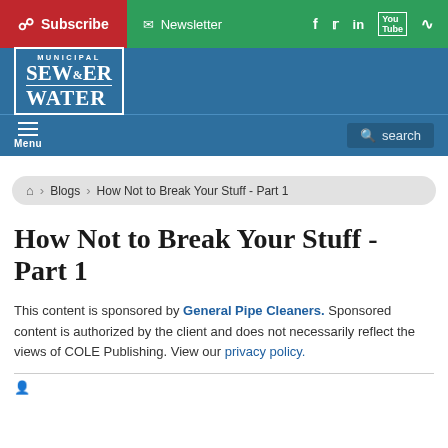Subscribe  Newsletter  (social icons: f, twitter, in, YouTube, RSS)
[Figure (logo): Municipal Sewer & Water logo, white text on blue background]
Menu  search
Blogs > How Not to Break Your Stuff - Part 1
How Not to Break Your Stuff - Part 1
This content is sponsored by General Pipe Cleaners. Sponsored content is authorized by the client and does not necessarily reflect the views of COLE Publishing. View our privacy policy.